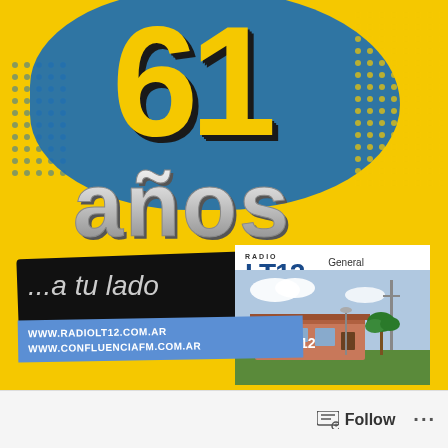[Figure (illustration): Anniversary promotional graphic for Radio LT12. Large '61' in yellow on dark blue blob background with 'años' in silver/chrome text below. Black card with '...a tu lado' text and website URLs www.radiolt12.com.ar and www.confluenciafm.com.ar. Radio LT12 logo panel showing AM 840 FM 92.7, General Madariaga RTA branding, and a photo of the radio station building. Yellow background throughout.]
[Figure (screenshot): Facebook follow button bar at bottom with follow icon and '...' menu]